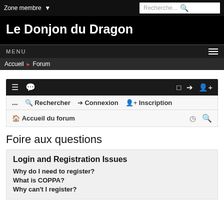Zone membre ▾  Recherche...
Le Donjon du Dragon
MENU
Accueil ▶ Forum
Foire aux questions
Login and Registration Issues
Why do I need to register?
What is COPPA?
Why can't I register?